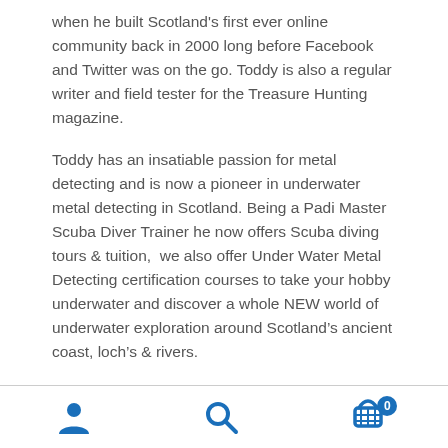when he built Scotland's first ever online community back in 2000 long before Facebook and Twitter was on the go. Toddy is also a regular writer and field tester for the Treasure Hunting magazine.
Toddy has an insatiable passion for metal detecting and is now a pioneer in underwater metal detecting in Scotland. Being a Padi Master Scuba Diver Trainer he now offers Scuba diving tours & tuition, we also offer Under Water Metal Detecting certification courses to take your hobby underwater and discover a whole NEW world of underwater exploration around Scotland's ancient coast, loch's & rivers.
As you can see from above you are in very experienced
user icon, search icon, cart icon with badge 0